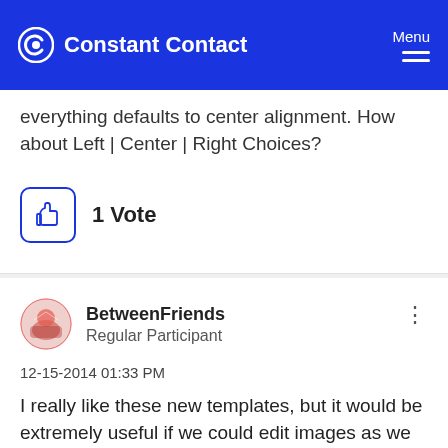Constant Contact — Menu
everything defaults to center alignment. How about Left | Center | Right Choices?
1 Vote
BetweenFriends
Regular Participant
‎12-15-2014 01:33 PM
I really like these new templates, but it would be extremely useful if we could edit images as we do in